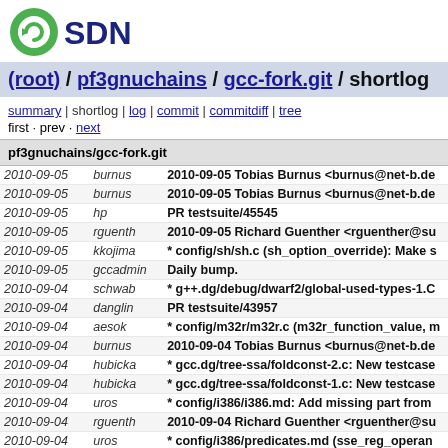[Figure (logo): OSDN logo with green circle-arrow icon and dark blue SDN text]
(root) / pf3gnuchains / gcc-fork.git / shortlog
summary | shortlog | log | commit | commitdiff | tree
first · prev · next
pf3gnuchains/gcc-fork.git
| Date | Author | Message |
| --- | --- | --- |
| 2010-09-05 | burnus | 2010-09-05 Tobias Burnus <burnus@net-b.de |
| 2010-09-05 | burnus | 2010-09-05 Tobias Burnus <burnus@net-b.de |
| 2010-09-05 | hp | PR testsuite/45545 |
| 2010-09-05 | rguenth | 2010-09-05 Richard Guenther <rguenther@su |
| 2010-09-05 | kkojima | * config/sh/sh.c (sh_option_override): Make s |
| 2010-09-05 | gccadmin | Daily bump. |
| 2010-09-04 | schwab | * g++.dg/debug/dwarf2/global-used-types-1.C |
| 2010-09-04 | danglin | PR testsuite/43957 |
| 2010-09-04 | aesok | * config/m32r/m32r.c (m32r_function_value, m |
| 2010-09-04 | burnus | 2010-09-04 Tobias Burnus <burnus@net-b.de |
| 2010-09-04 | hubicka | * gcc.dg/tree-ssa/foldconst-2.c: New testcase |
| 2010-09-04 | hubicka | * gcc.dg/tree-ssa/foldconst-1.c: New testcase |
| 2010-09-04 | uros | * config/i386/i386.md: Add missing part from |
| 2010-09-04 | rguenth | 2010-09-04 Richard Guenther <rguenther@su |
| 2010-09-04 | uros | * config/i386/predicates.md (sse_reg_operan |